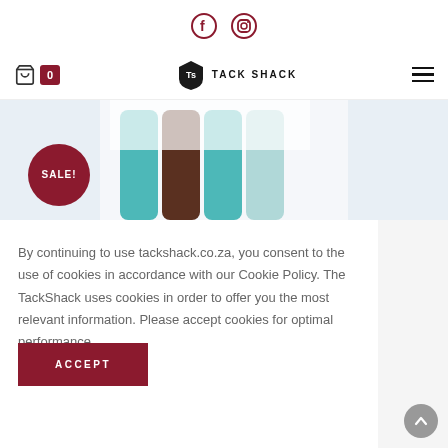Social icons: Facebook, Instagram
[Figure (screenshot): Navigation bar with shopping cart (0), Tack Shack logo with crest, and hamburger menu]
[Figure (photo): Product image strip showing riding breeches/leggings in teal, brown, and light blue colors on a white background, with a dark red SALE! circular badge overlay]
By continuing to use tackshack.co.za, you consent to the use of cookies in accordance with our Cookie Policy. The TackShack uses cookies in order to offer you the most relevant information. Please accept cookies for optimal performance.
ACCEPT